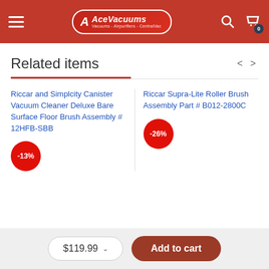AceVacuums - Vacuums - Airpurifiers - CentralVac
Related items
Riccar and Simplcity Canister Vacuum Cleaner Deluxe Bare Surface Floor Brush Assembly # 12HFB-SBB
-13%
Riccar Supra-Lite Roller Brush Assembly Part # B012-2800C
-26%
$119.99  Add to cart